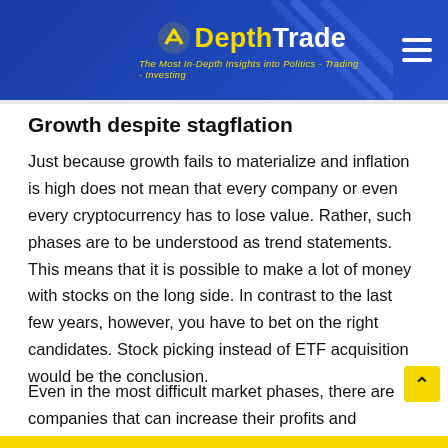DepthTrade – The Most In-Depth Insights into Politics - Trading - Investing
Growth despite stagflation
Just because growth fails to materialize and inflation is high does not mean that every company or even every cryptocurrency has to lose value. Rather, such phases are to be understood as trend statements. This means that it is possible to make a lot of money with stocks on the long side. In contrast to the last few years, however, you have to bet on the right candidates. Stock picking instead of ETF acquisition would be the conclusion.
Even in the most difficult market phases, there are companies that can increase their profits and … Growth can therefore